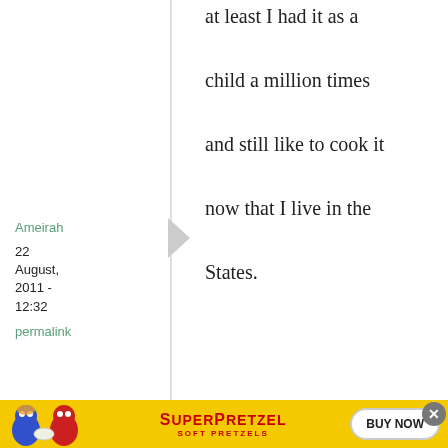at least I had it as a child a million times and still like to cook it now that I live in the States.
Ameirah
22 August, 2011 - 12:32
permalink
Re: What's your national dish - or, is there any such ...
[Figure (illustration): SuperPretzel advertisement banner with cartoon characters and BUY NOW button on yellow background]